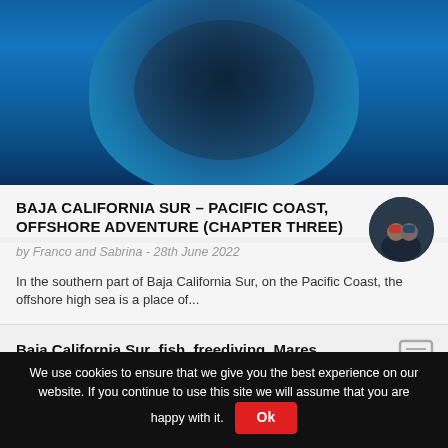[Figure (photo): Underwater photo of a large school of fish forming a dense ball against a deep blue ocean background]
BAJA CALIFORNIA SUR – PACIFIC COAST, OFFSHORE ADVENTURE (CHAPTER THREE)
by Franco and Sabrina - 28th June 2022
In the southern part of Baja California Sur, on the Pacific Coast, the offshore high sea is a place of...
Baja California Sur, fish, freediving, Mares, mexico, ocean, photography, SSI, underwater
We use cookies to ensure that we give you the best experience on our website. If you continue to use this site we will assume that you are happy with it.